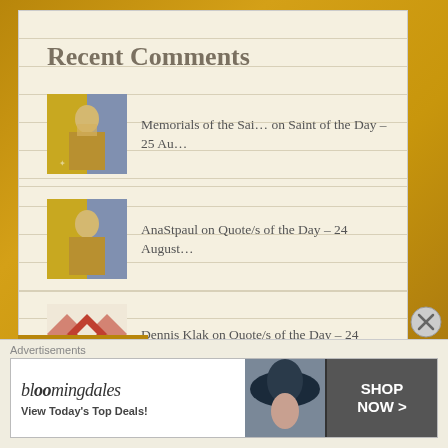Recent Comments
Memorials of the Sai… on Saint of the Day – 25 Au…
AnaStpaul on Quote/s of the Day – 24 August…
Dennis Klak on Quote/s of the Day – 24 August…
Thought for the Day… on Thought for the Day – 31 Augus…
Advertisements
[Figure (other): Bloomingdales advertisement banner: bloomingdales logo, 'View Today's Top Deals!', woman with hat, SHOP NOW > button]